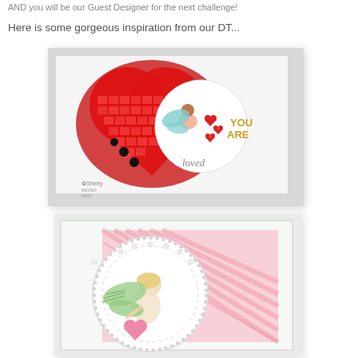AND you will be our Guest Designer for the next challenge!
Here is some gorgeous inspiration from our DT...
[Figure (photo): Handmade Valentine card featuring a red mosaic heart background, a fairy/angel figure holding red hearts on a white circular die cut, with 'YOU ARE loved' sentiment in gold text, black gem embellishments, created by Sherry]
[Figure (photo): Handmade Valentine card featuring a fairy/angel figure with green wings holding a pink heart, set on a white doily, with pink diagonal striped and chevron patterned paper background]